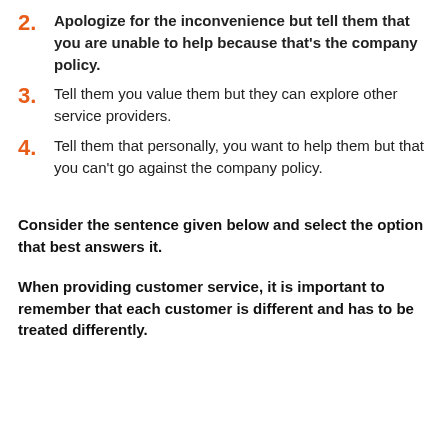2. Apologize for the inconvenience but tell them that you are unable to help because that's the company policy.
3. Tell them you value them but they can explore other service providers.
4. Tell them that personally, you want to help them but that you can't go against the company policy.
Consider the sentence given below and select the option that best answers it.
When providing customer service, it is important to remember that each customer is different and has to be treated differently.